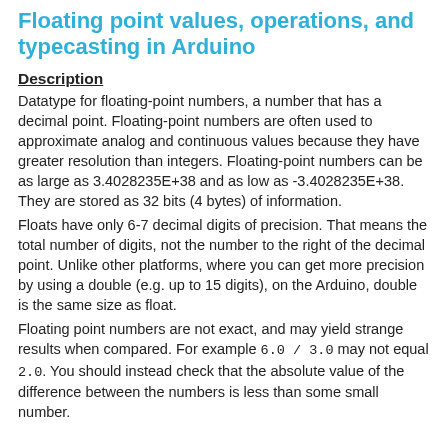Floating point values, operations, and typecasting in Arduino
Description
Datatype for floating-point numbers, a number that has a decimal point. Floating-point numbers are often used to approximate analog and continuous values because they have greater resolution than integers. Floating-point numbers can be as large as 3.4028235E+38 and as low as -3.4028235E+38. They are stored as 32 bits (4 bytes) of information.
Floats have only 6-7 decimal digits of precision. That means the total number of digits, not the number to the right of the decimal point. Unlike other platforms, where you can get more precision by using a double (e.g. up to 15 digits), on the Arduino, double is the same size as float.
Floating point numbers are not exact, and may yield strange results when compared. For example 6.0 / 3.0 may not equal 2.0. You should instead check that the absolute value of the difference between the numbers is less than some small number.